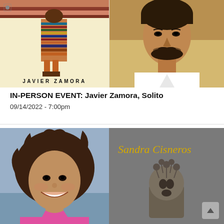[Figure (photo): Left: book cover for 'Solito' by Javier Zamora with colorful silhouetted figure on cream background with author name in bold letters. Right: author photo of Javier Zamora, a young man with dark hair and beard wearing a white V-neck shirt.]
IN-PERSON EVENT: Javier Zamora, Solito
09/14/2022 - 7:00pm
[Figure (photo): Left: author photo of Sandra Cisneros, a middle-aged woman with wild curly dark hair, smiling broadly, wearing a pink top. Right: book cover showing 'Sandra Cisneros' in yellow handwritten script on a gray background with a clay figurine of a face/mask with flowers.]